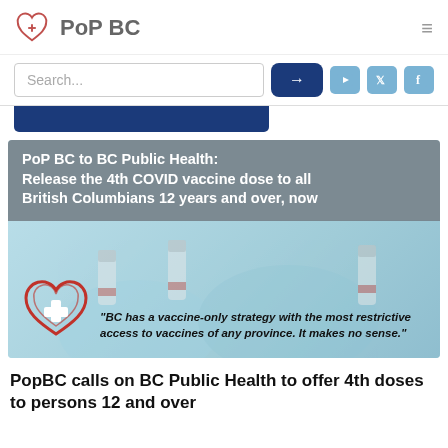PoP BC
[Figure (screenshot): Search bar with blue arrow button, and social media icons (YouTube, Twitter, Facebook) in light blue]
[Figure (infographic): Card image showing: grey overlay title 'PoP BC to BC Public Health: Release the 4th COVID vaccine dose to all British Columbians 12 years and over, now'. Background shows gloved hands holding vaccine vials. White heart+cross logo on left. Quote: 'BC has a vaccine-only strategy with the most restrictive access to vaccines of any province. It makes no sense.']
PopBC calls on BC Public Health to offer 4th doses to persons 12 and over